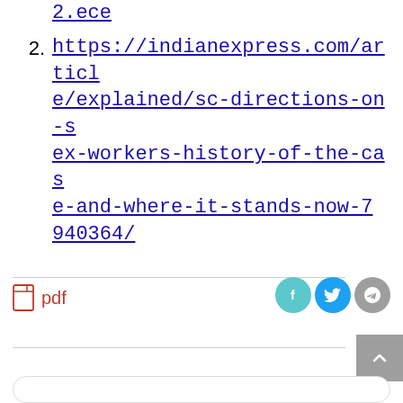2.ece (partial url, continued from previous page)
2. https://indianexpress.com/article/explained/sc-directions-on-sex-workers-history-of-the-case-and-where-it-stands-now-7940364/